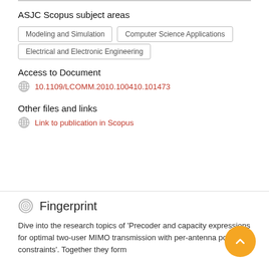ASJC Scopus subject areas
Modeling and Simulation
Computer Science Applications
Electrical and Electronic Engineering
Access to Document
10.1109/LCOMM.2010.100410.101473
Other files and links
Link to publication in Scopus
Fingerprint
Dive into the research topics of 'Precoder and capacity expressions for optimal two-user MIMO transmission with per-antenna power constraints'. Together they form